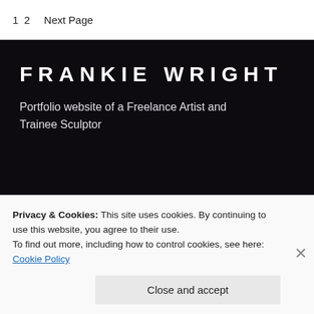1 2    Next Page
FRANKIE WRIGHT
Portfolio website of a Freelance Artist and Trainee Sculptor
GET IN TOUCH
Privacy & Cookies: This site uses cookies. By continuing to use this website, you agree to their use.
To find out more, including how to control cookies, see here:
Cookie Policy
Close and accept